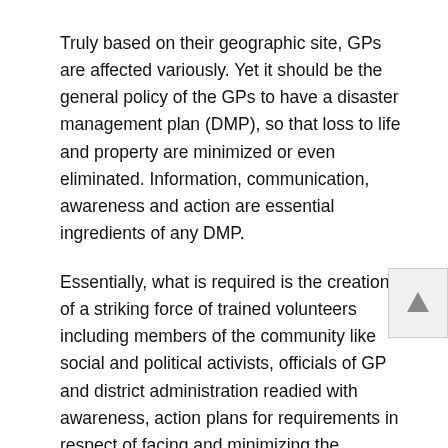Truly based on their geographic site, GPs are affected variously. Yet it should be the general policy of the GPs to have a disaster management plan (DMP), so that loss to life and property are minimized or even eliminated. Information, communication, awareness and action are essential ingredients of any DMP.
Essentially, what is required is the creation of a striking force of trained volunteers including members of the community like social and political activists, officials of GP and district administration readied with awareness, action plans for requirements in respect of facing and minimizing the consequences of a disaster. Preparing a force of volunteers under